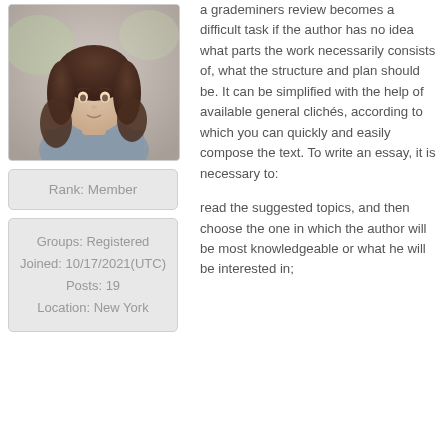[Figure (photo): Profile photo of a young woman with long dark hair, wearing a grey t-shirt, blurred outdoor background]
Rank: Member
Groups: Registered
Joined: 10/17/2021(UTC)
Posts: 19
Location: New York
a grademiners review becomes a difficult task if the author has no idea what parts the work necessarily consists of, what the structure and plan should be. It can be simplified with the help of available general clichés, according to which you can quickly and easily compose the text. To write an essay, it is necessary to:

read the suggested topics, and then choose the one in which the author will be most knowledgeable or what he will be interested in;